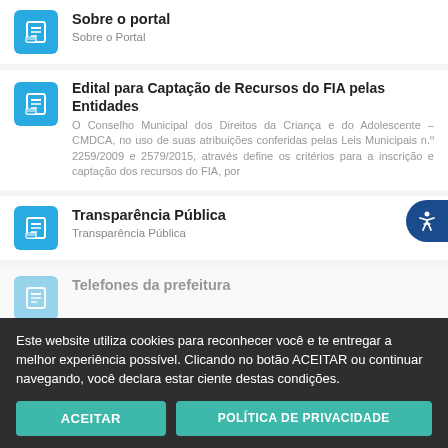Sobre o portal
Sobre o Portal
Edital para Captação de Recursos do FIA pelas Entidades
O Conselho Municipal dos Direitos da Criança e do Adolescente – CMDCA, no uso de suas atribuições conferidas pelas Leis Municipais n.º 2259/2009 e 2579/2015, através define os critérios para a inscrição e captação dos recursos do FIA, por
Transparência Pública
Transparência Pública
Telefones da prefeitura
Este website utiliza cookies para reconhecer você e te entregar a melhor experiência possível. Clicando no botão ACEITAR ou continuar navegando, você declara estar ciente destas condições.
ACEITAR
POLÍTICA DE PRIVACIDADE